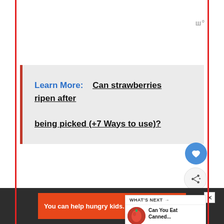W°
Learn More:   Can strawberries ripen after being picked (+7 Ways to use)?
What To Do With F...
Carrots?
WHAT'S NEXT → Can You Eat Canned...
You can help hungry kids.  NOKID HUNGRY  LEARN HOW
W°